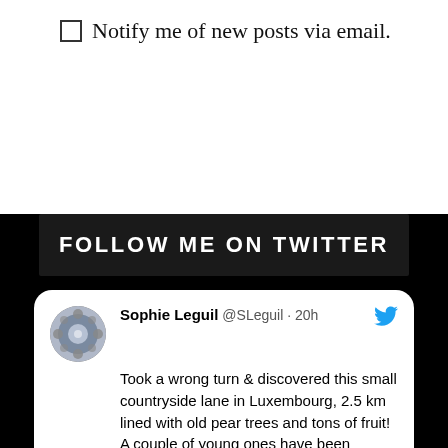☐ Notify me of new posts via email.
FOLLOW ME ON TWITTER
Sophie Leguil @SLeguil · 20h
Took a wrong turn & discovered this small countryside lane in Luxembourg, 2.5 km lined with old pear trees and tons of fruit! A couple of young ones have been added, but most of the older trees are sadly left covered in mistletoe. Probably a common feature in the past... 🍐